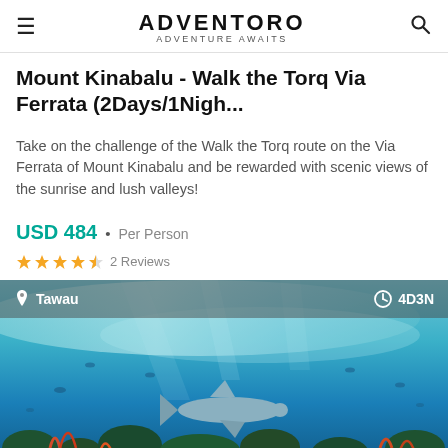ADVENTORO — ADVENTURE AWAITS
Mount Kinabalu - Walk the Torq Via Ferrata (2Days/1Nigh...
Take on the challenge of the Walk the Torq route on the Via Ferrata of Mount Kinabalu and be rewarded with scenic views of the sunrise and lush valleys!
USD 484 • Per Person
2 Reviews
[Figure (photo): Underwater photo showing sharks and reef fish swimming above a coral reef in blue water, with location label 'Tawau' and duration '4D3N']